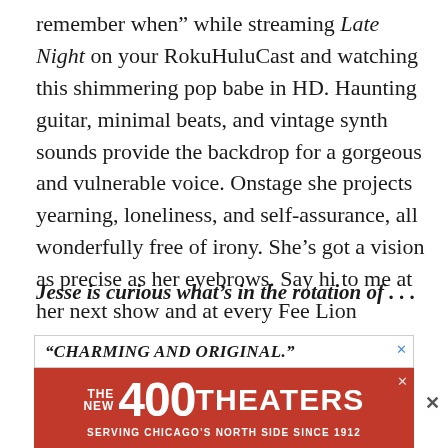remember when” while streaming Late Night on your RokuHuluCast and watching this shimmering pop babe in HD. Haunting guitar, minimal beats, and vintage synth sounds provide the backdrop for a gorgeous and vulnerable voice. Onstage she projects yearning, loneliness, and self-assurance, all wonderfully free of irony. She’s got a vision as precise as her eyebrows. Say hi to me at her next show and at every Fee Lion performance from now until forever.
Jesse is curious what’s in the rotation of . . .
[Figure (other): Advertisement banner: top portion reads “CHARMING AND ORIGINAL.” in bold italic on white background with blue X close button; bottom red banner reads THE NEW 400 THEATERS SERVING CHICAGO’S NORTH SIDE SINCE 1912 with white X close button]